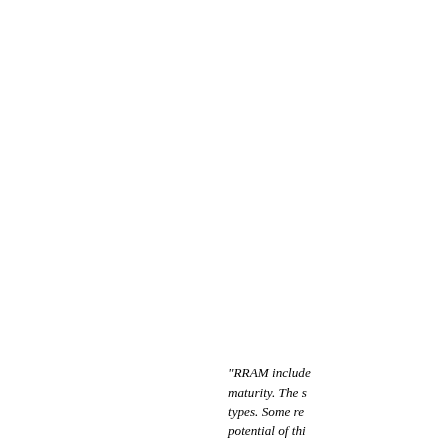"RRAM includes maturity. The s types. Some re potential of thi